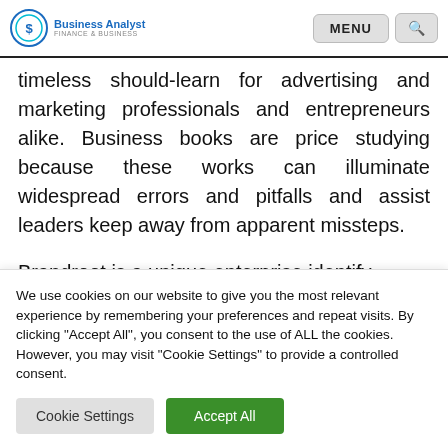Business Analyst — MENU [search]
timeless should-learn for advertising and marketing professionals and entrepreneurs alike. Business books are price studying because these works can illuminate widespread errors and pitfalls and assist leaders keep away from apparent missteps.

Brandroot is a unique enterprise identify generator of creative names with the
We use cookies on our website to give you the most relevant experience by remembering your preferences and repeat visits. By clicking "Accept All", you consent to the use of ALL the cookies. However, you may visit "Cookie Settings" to provide a controlled consent.